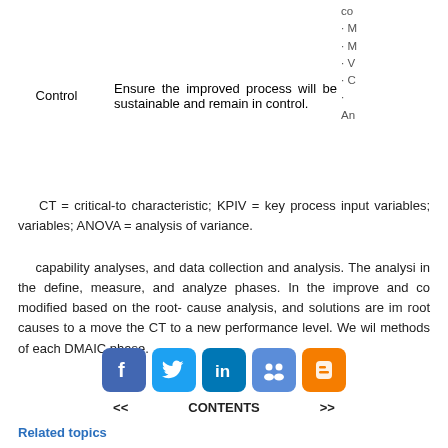| Phase | Description | Tools/Methods |
| --- | --- | --- |
| Control | Ensure the improved process will be sustainable and remain in control. | co
· M
· M
· V
· C
·
An |
CT = critical-to characteristic; KPIV = key process input variables; variables; ANOVA = analysis of variance.
capability analyses, and data collection and analysis. The analysis in the define, measure, and analyze phases. In the improve and co modified based on the root- cause analysis, and solutions are im root causes to a move the CT to a new performance level. We wil methods of each DMAIC phase.
[Figure (infographic): Social media icons: Facebook (blue), Twitter (blue), LinkedIn (blue), a group/community icon (blue), and Blogger (orange)]
<< CONTENTS >>
Related topics